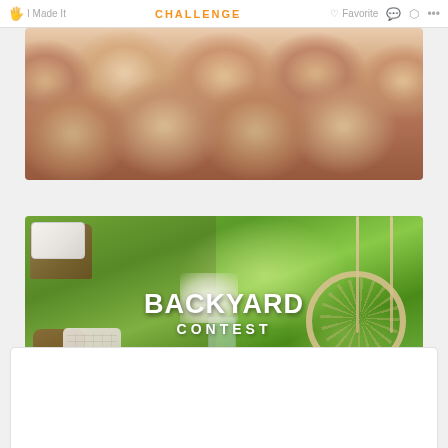I Made It | CHALLENGE | Favorite
[Figure (photo): Close-up photo of brown eggs arranged together filling the frame]
[Figure (photo): Backyard contest promotional image showing outdoor patio with wicker furniture, knitted blanket, basket, glass vase with baby's breath flowers, hanging rope swing chair, and garden greenery in background. Text overlay reads 'BACKYARD CONTEST']